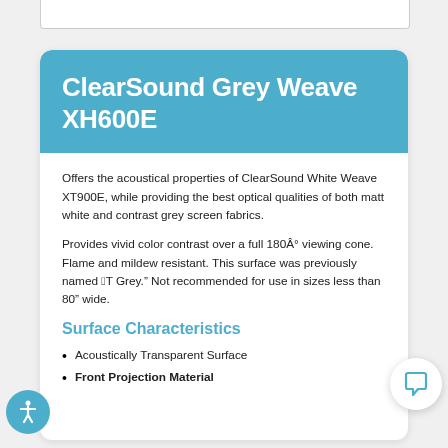ClearSound Grey Weave XH600E
Offers the acoustical properties of ClearSound White Weave XT900E, while providing the best optical qualities of both matt white and contrast grey screen fabrics.
Provides vivid color contrast over a full 180Â° viewing cone. Flame and mildew resistant. This surface was previously named â€œAT Grey.â€ Not recommended for use in sizes less than 80â€ wide.
Surface Characteristics
Acoustically Transparent Surface
Front Projection Material